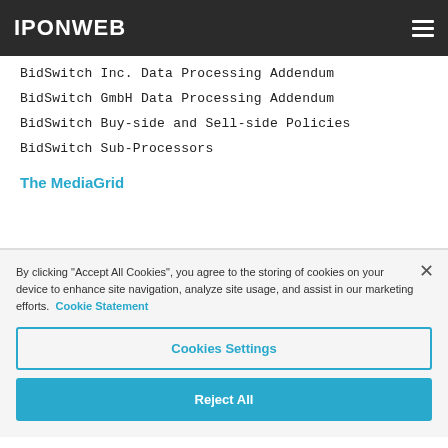IPONWEB
BidSwitch Inc. Data Processing Addendum
BidSwitch GmbH Data Processing Addendum
BidSwitch Buy-side and Sell-side Policies
BidSwitch Sub-Processors
The MediaGrid
By clicking "Accept All Cookies", you agree to the storing of cookies on your device to enhance site navigation, analyze site usage, and assist in our marketing efforts. Cookie Statement
Cookies Settings
Reject All